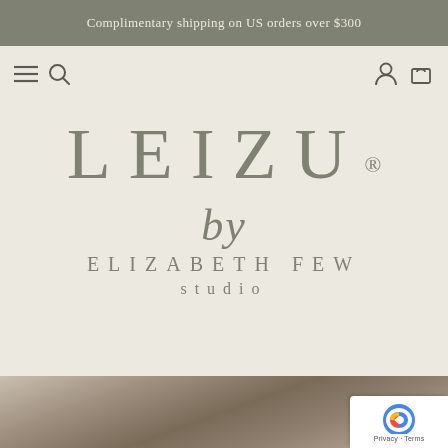Complimentary shipping on US orders over $300
[Figure (screenshot): Navigation bar with hamburger menu, search icon on left; account and cart icons on right]
LEIZU®
by ELIZABETH FEW studio
[Figure (photo): Bottom strip showing blurred/abstract background image of textile or fabric]